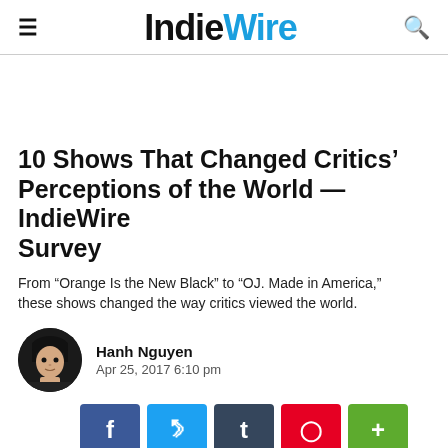IndieWire
10 Shows That Changed Critics' Perceptions of the World — IndieWire Survey
From "Orange Is the New Black" to "OJ. Made in America," these shows changed the way critics viewed the world.
Hanh Nguyen
Apr 25, 2017 6:10 pm
[Figure (photo): Photo of a group of people at what appears to be a social gathering or event, close-up of faces]
[Figure (photo): Social share buttons: Facebook, Twitter, Tumblr, Pinterest, More]